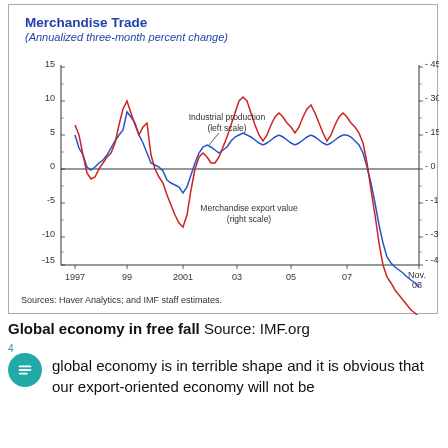[Figure (continuous-plot): Line chart showing Industrial production (left scale) and Merchandise export value (right scale) from 1997 to Nov 08. Both series are annualized three-month percent change. Industrial production (blue line) left scale ranges from -15 to 15. Merchandise export value (red line) right scale ranges from -45 to 45. Both lines show high volatility, dropping sharply near Nov 08.]
Sources: Haver Analytics; and IMF staff estimates.
Global economy in free fall Source: IMF.org
global economy is in terrible shape and it is obvious that our export-oriented economy will not be